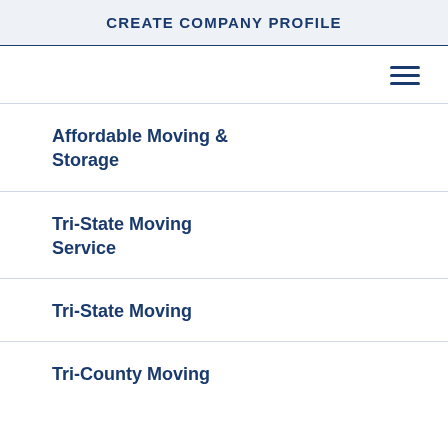CREATE COMPANY PROFILE
Affordable Moving & Storage
Tri-State Moving Service
Tri-State Moving
Tri-County Moving